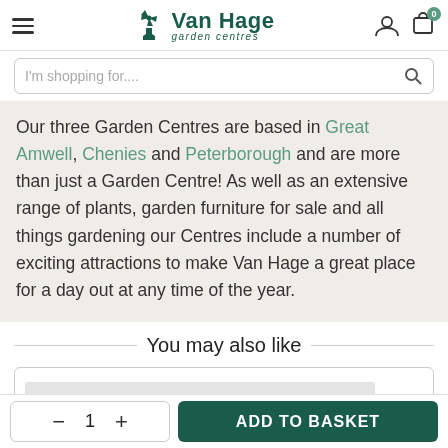Van Hage garden centres
I'm shopping for....
Our three Garden Centres are based in Great Amwell, Chenies and Peterborough and are more than just a Garden Centre! As well as an extensive range of plants, garden furniture for sale and all things gardening our Centres include a number of exciting attractions to make Van Hage a great place for a day out at any time of the year.
You may also like
ADD TO BASKET